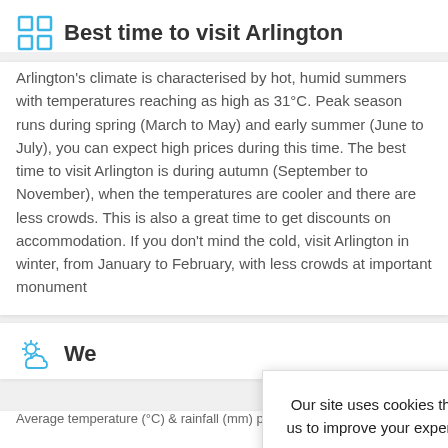Best time to visit Arlington
Arlington's climate is characterised by hot, humid summers with temperatures reaching as high as 31°C. Peak season runs during spring (March to May) and early summer (June to July), you can expect high prices during this time. The best time to visit Arlington is during autumn (September to November), when the temperatures are cooler and there are less crowds. This is also a great time to get discounts on accommodation. If you don't mind the cold, visit Arlington in winter, from January to February, with less crowds at important monument
We...
Average temperature (°C) & rainfall (mm) per month
Our site uses cookies that are essential, while others help us to improve your experience. By continuing, you agree to our use of cookies.
Read our Cookie and Privacy Policy
Dismiss
Got it!